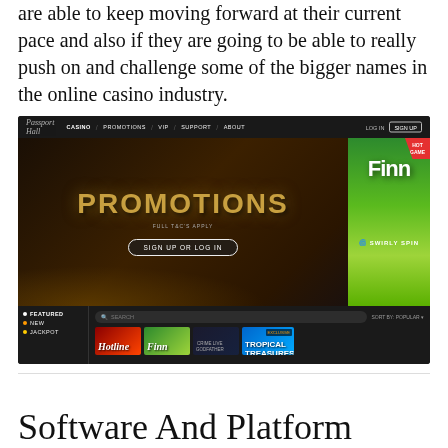are able to keep moving forward at their current pace and also if they are going to be able to really push on and challenge some of the bigger names in the online casino industry.
[Figure (screenshot): Screenshot of Passport Hall online casino website showing navigation bar with CASINO, PROMOTIONS, VIP, SUPPORT, ABOUT links, a PROMOTIONS banner with 'SIGN UP OR LOG IN' button, a 'HOT GAME' badge showing 'SWIRLY SPIN' slot game, and a game lobby with FEATURED, NEW, JACKPOT categories and game thumbnails including Hotline, Finn, and Tropical Treasures.]
Software And Platform